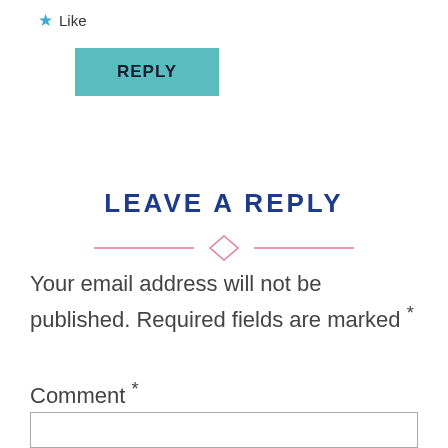★ Like
REPLY
LEAVE A REPLY
[Figure (illustration): Decorative pink diamond divider with horizontal lines on each side]
Your email address will not be published. Required fields are marked *
Comment *